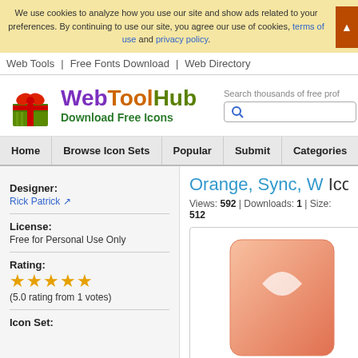We use cookies to analyze how you use our site and show ads related to your preferences. By continuing to use our site, you agree our use of cookies, terms of use and privacy policy.
Web Tools | Free Fonts Download | Web Directory
[Figure (logo): WebToolHub logo with green gift box icon and colorful text 'WebToolHub Download Free Icons']
Home | Browse Icon Sets | Popular | Submit | Categories | Serv
Designer: Rick Patrick
License: Free for Personal Use Only
Rating: ★★★★★ (5.0 rating from 1 votes)
Icon Set:
Orange, Sync, W Icon
Views: 592 | Downloads: 1 | Size: 512
[Figure (illustration): Orange/peach colored icon preview showing a sync or document icon]